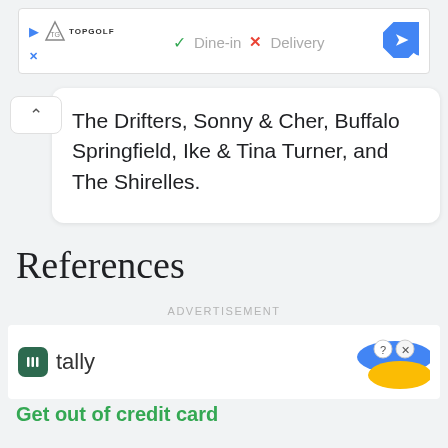[Figure (screenshot): Topgolf ad banner with play icon, Topgolf shield logo, green checkmark Dine-in, red X Delivery, and blue navigation diamond icon]
The Drifters, Sonny & Cher, Buffalo Springfield, Ike & Tina Turner, and The Shirelles.
References
ADVERTISEMENT
[Figure (screenshot): Tally app advertisement with green Tally logo icon, tally text, and illustrated credit card graphic on the right. Text reads 'Get out of credit card']